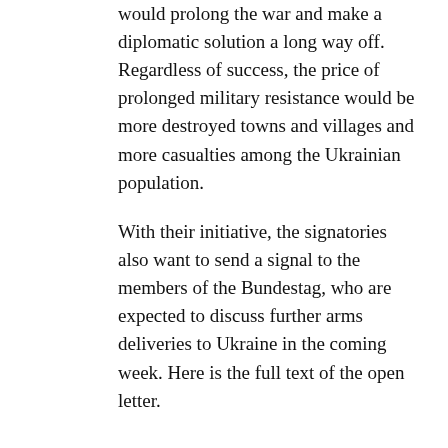would prolong the war and make a diplomatic solution a long way off. Regardless of success, the price of prolonged military resistance would be more destroyed towns and villages and more casualties among the Ukrainian population.
With their initiative, the signatories also want to send a signal to the members of the Bundestag, who are expected to discuss further arms deliveries to Ukraine in the coming week. Here is the full text of the open letter.
Dear Chancellor Scholz,
we are people of different origins, political attitudes and positions towards the politics of NATO, Russia and the federal government. We all deeply condemn this unjustifiable war by Russia in Ukraine. We are united in warning against an uncontrollable escalation of the war with unforeseeable consequences for